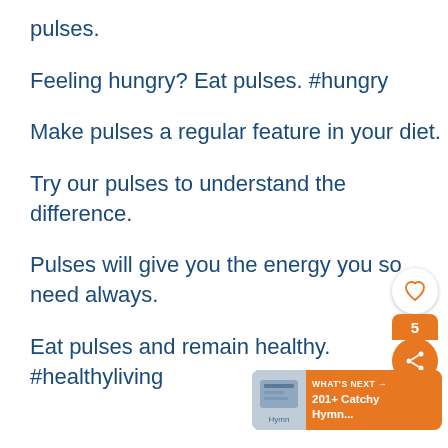pulses.
Feeling hungry? Eat pulses. #hungry
Make pulses a regular feature in your diet.
Try our pulses to understand the difference.
Pulses will give you the energy you so need always.
Eat pulses and remain healthy. #healthyliving
[Figure (infographic): Heart/like button (white circle with heart outline), count badge showing 5 (orange), and share button (orange circle with share icon)]
[Figure (infographic): What's Next banner with orange background, thumbnail image placeholder, text reading WHAT'S NEXT → 201+ Catchy Hymn...]